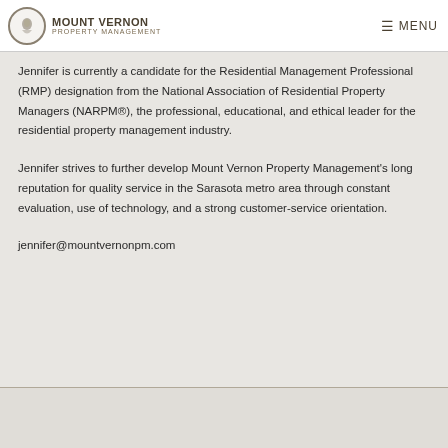MOUNT VERNON PROPERTY MANAGEMENT  ☰ MENU
Jennifer is currently a candidate for the Residential Management Professional (RMP) designation from the National Association of Residential Property Managers (NARPM®), the professional, educational, and ethical leader for the residential property management industry.
Jennifer strives to further develop Mount Vernon Property Management's long reputation for quality service in the Sarasota metro area through constant evaluation, use of technology, and a strong customer-service orientation.
jennifer@mountvernonpm.com